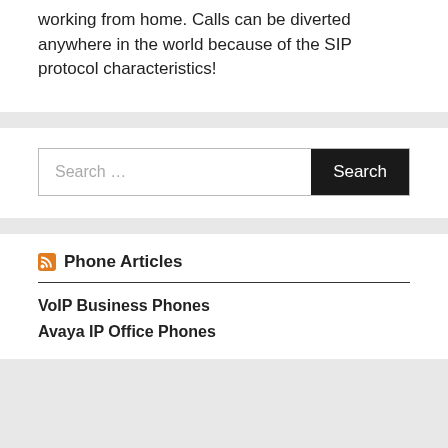working from home. Calls can be diverted anywhere in the world because of the SIP protocol characteristics!
[Figure (other): Search bar with text input placeholder 'Search ...' and a dark 'Search' button]
Phone Articles
VoIP Business Phones
Avaya IP Office Phones